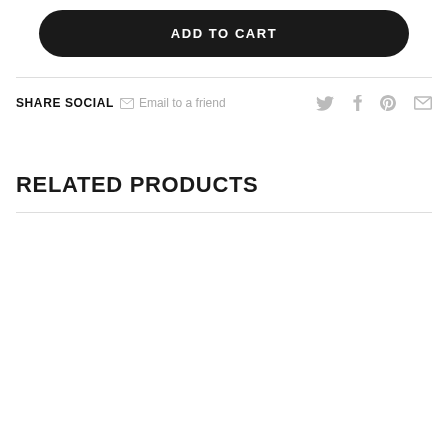ADD TO CART
SHARE SOCIAL  Email to a friend
RELATED PRODUCTS